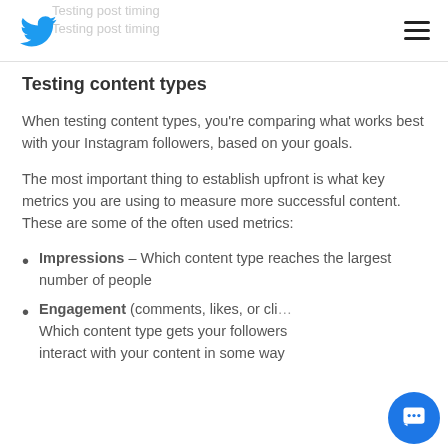Testing post timing
Testing content types
When testing content types, you're comparing what works best with your Instagram followers, based on your goals.
The most important thing to establish upfront is what key metrics you are using to measure more successful content. These are some of the often used metrics:
Impressions – Which content type reaches the largest number of people
Engagement (comments, likes, or clic… Which content type gets your followers interact with your content in some way